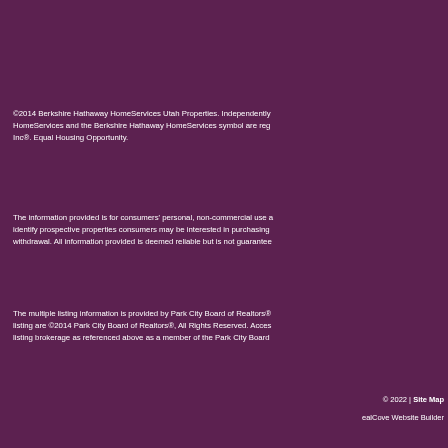©2014 Berkshire Hathaway HomeServices Utah Properties. Independently HomeServices and the Berkshire Hathaway HomeServices symbol are reg Inc®. Equal Housing Opportunity.
The information provided is for consumers' personal, non-commercial use a identify prospective properties consumers may be interested in purchasing withdrawal. All information provided is deemed reliable but is not guarantee
The multiple listing information is provided by Park City Board of Realtors® listing are ©2014 Park City Board of Realtors®, All Rights Reserved. Acces listing brokerage as referenced above as a member of the Park City Board
© 2022 | Site Map
ealCove Website Builder